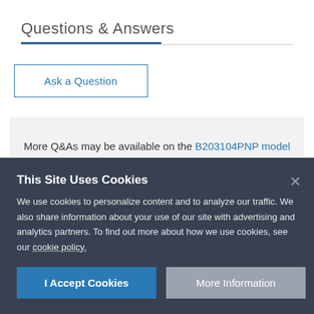Questions & Answers
Ask a Question
More Q&As may be available on the B203104PNP model support page.
This Site Uses Cookies
We use cookies to personalize content and to analyze our traffic. We also share information about your use of our site with advertising and analytics partners. To find out more about how we use cookies, see our cookie policy.
I Accept Cookies
More Information